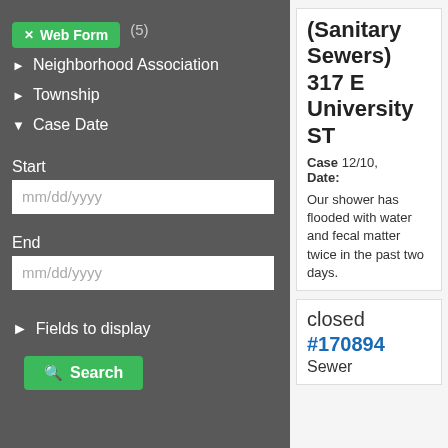Web Form (5)
Neighborhood Association
Township
Case Date
Start
mm/dd/yyyy
End
mm/dd/yyyy
Fields to display
Search
(Sanitary Sewers) 317 E University ST
Case Date: 12/10,
Our shower has flooded with water and fecal matter twice in the past two days.
closed #170894 Sewer